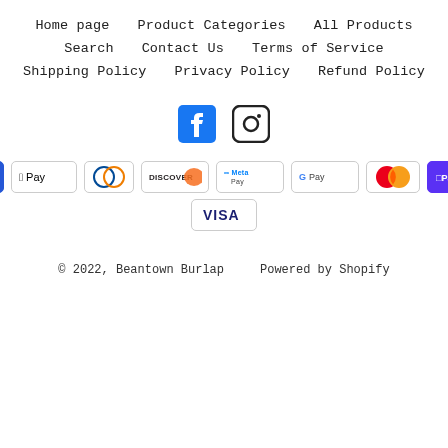Home page   Product Categories   All Products
Search   Contact Us   Terms of Service
Shipping Policy   Privacy Policy   Refund Policy
[Figure (infographic): Facebook and Instagram social media icons]
[Figure (infographic): Payment method badges: American Express, Apple Pay, Diners Club, Discover, Meta Pay, Google Pay, Mastercard, Shop Pay, Visa]
© 2022, Beantown Burlap   Powered by Shopify